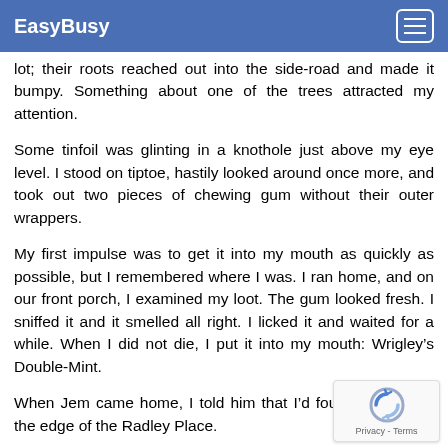EasyBusy
lot; their roots reached out into the side-road and made it bumpy. Something about one of the trees attracted my attention.
Some tinfoil was glinting in a knothole just above my eye level. I stood on tiptoe, hastily looked around once more, and took out two pieces of chewing gum without their outer wrappers.
My first impulse was to get it into my mouth as quickly as possible, but I remembered where I was. I ran home, and on our front porch, I examined my loot. The gum looked fresh. I sniffed it and it smelled all right. I licked it and waited for a while. When I did not die, I put it into my mouth: Wrigley’s Double-Mint.
When Jem came home, I told him that I’d found the tree at the edge of the Radley Place.